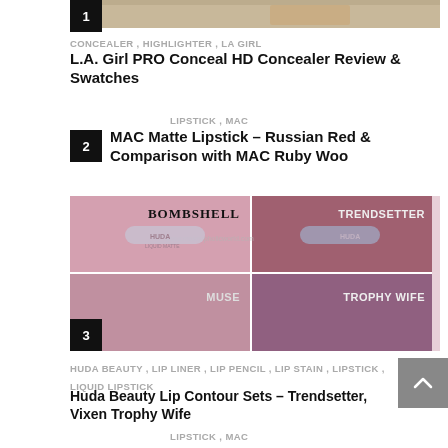[Figure (photo): Partial top image of a makeup/concealer product, cropped at top of page with number badge '1' visible at left]
CONCEALER , HIGHLIGHTER , LA GIRL
L.A. Girl PRO Conceal HD Concealer Review & Swatches
LIPSTICK , MAC
2 MAC Matte Lipstick – Russian Red & Comparison with MAC Ruby Woo
[Figure (photo): Huda Beauty Liquid Matte lipstick comparison image showing four shades: Bombshell, Trendsetter, Muse, Trophy Wife, with number badge '3']
HUDA BEAUTY , LIP LINER , LIP PENCIL , LIP STAIN , LIPSTICK , LIQUID LIPSTICK
Huda Beauty Lip Contour Sets – Trendsetter, Vixen Trophy Wife
LIPSTICK , MAC